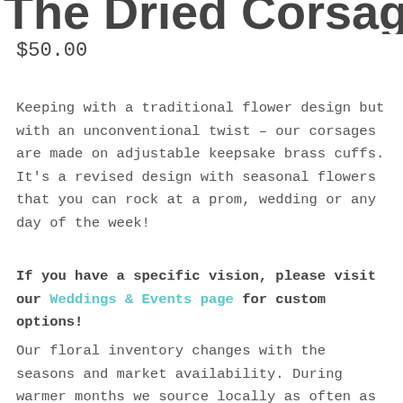The Dried Corsage
$50.00
Keeping with a traditional flower design but with an unconventional twist – our corsages are made on adjustable keepsake brass cuffs. It's a revised design with seasonal flowers that you can rock at a prom, wedding or any day of the week!
If you have a specific vision, please visit our Weddings & Events page for custom options!
Our floral inventory changes with the seasons and market availability. During warmer months we source locally as often as possible. These